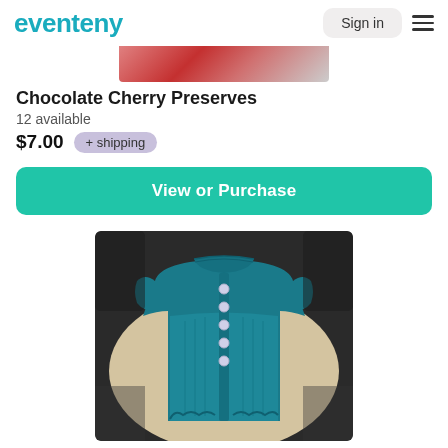eventeny  Sign in
[Figure (photo): Partial top view of Chocolate Cherry Preserves product image — pink/red jar contents visible at top]
Chocolate Cherry Preserves
12 available
$7.00  + shipping
View or Purchase
[Figure (photo): Teal/dark cyan hand-knitted baby vest/cardigan with small white buttons down the front, photographed on a light wooden surface]